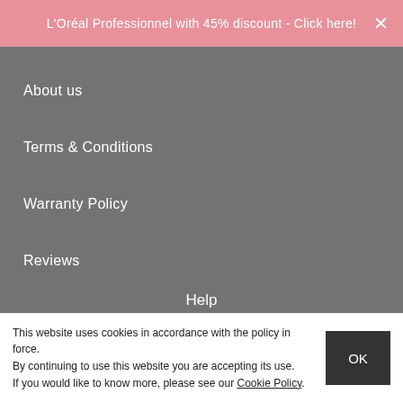L'Oréal Professionnel with 45% discount - Click here!
About us
Terms & Conditions
Warranty Policy
Reviews
Help
Faqs
Security & Payment
Shipping Charges
This website uses cookies in accordance with the policy in force. By continuing to use this website you are accepting its use. If you would like to know more, please see our Cookie Policy.